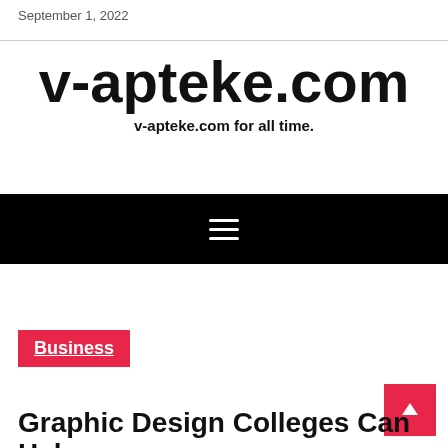September 1, 2022
v-apteke.com
v-apteke.com for all time.
[Figure (other): Black navigation bar with hamburger menu icon (three horizontal white lines)]
Business
Graphic Design Colleges Can Help